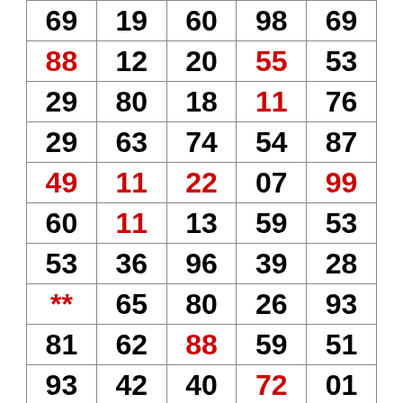| 69 | 19 | 60 | 98 | 69 |
| 88 | 12 | 20 | 55 | 53 |
| 29 | 80 | 18 | 11 | 76 |
| 29 | 63 | 74 | 54 | 87 |
| 49 | 11 | 22 | 07 | 99 |
| 60 | 11 | 13 | 59 | 53 |
| 53 | 36 | 96 | 39 | 28 |
| ** | 65 | 80 | 26 | 93 |
| 81 | 62 | 88 | 59 | 51 |
| 93 | 42 | 40 | 72 | 01 |
| 87 | 41 | 23 | 13 | 00 |